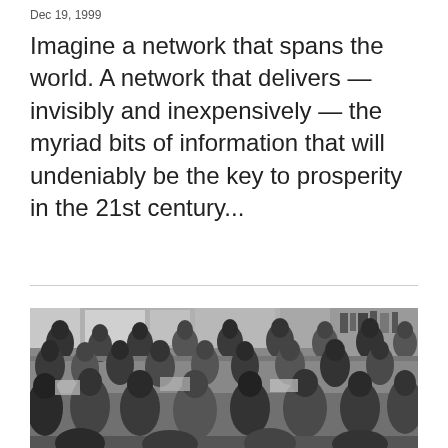Dec 19, 1999
Imagine a network that spans the world. A network that delivers — invisibly and inexpensively — the myriad bits of information that will undeniably be the key to prosperity in the 21st century...
[Figure (photo): Black and white photograph showing a crowded room of people, likely students and teachers, sitting at tables with computers in what appears to be a computer lab or classroom setting.]